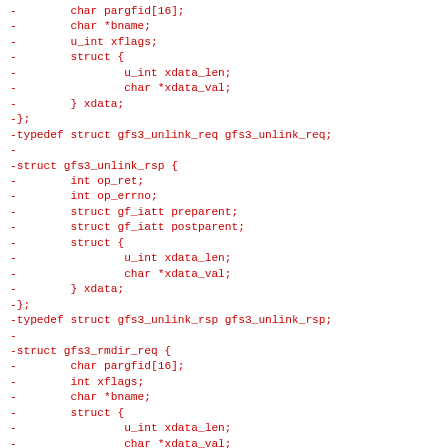-        char pargfid[16];
-        char *bname;
-        u_int xflags;
-        struct {
-                u_int xdata_len;
-                char *xdata_val;
-        } xdata;
-};
-typedef struct gfs3_unlink_req gfs3_unlink_req;
-
-struct gfs3_unlink_rsp {
-        int op_ret;
-        int op_errno;
-        struct gf_iatt preparent;
-        struct gf_iatt postparent;
-        struct {
-                u_int xdata_len;
-                char *xdata_val;
-        } xdata;
-};
-typedef struct gfs3_unlink_rsp gfs3_unlink_rsp;
-
-struct gfs3_rmdir_req {
-        char pargfid[16];
-        int xflags;
-        char *bname;
-        struct {
-                u_int xdata_len;
-                char *xdata_val;
-        } xdata;